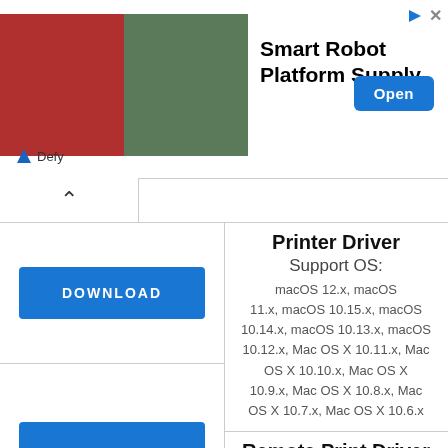[Figure (screenshot): Advertisement banner for Smart Robot Platform Supply by Defy, showing two robot images on the left, bold title text in the center, and a blue Open button on the right.]
DOWNLOAD
Printer Driver
Support OS:
macOS 12.x, macOS 11.x, macOS 10.15.x, macOS 10.14.x, macOS 10.13.x, macOS 10.12.x, Mac OS X 10.11.x, Mac OS X 10.10.x, Mac OS X 10.9.x, Mac OS X 10.8.x, Mac OS X 10.7.x, Mac OS X 10.6.x
Remote Print Driver
Support OS:
macOS 12.x, macOS 11.x, macOS 10.15.x, macOS